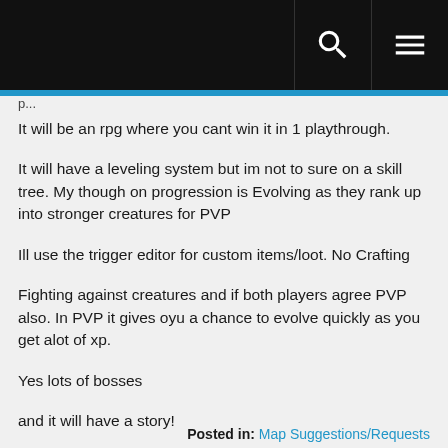It will be an rpg where you cant win it in 1 playthrough.
It will have a leveling system but im not to sure on a skill tree. My though on progression is Evolving as they rank up into stronger creatures for PVP
Ill use the trigger editor for custom items/loot. No Crafting
Fighting against creatures and if both players agree PVP also. In PVP it gives oyu a chance to evolve quickly as you get alot of xp.
Yes lots of bosses
and it will have a story!
Hope to see your reply!
Posted in: Map Suggestions/Requests